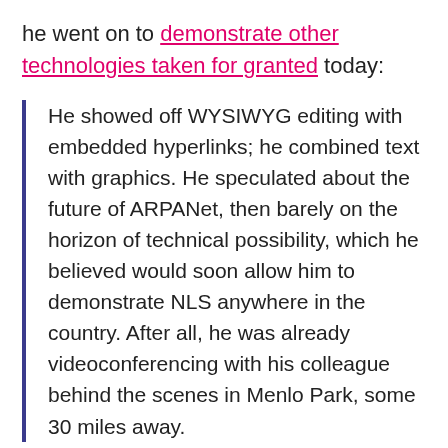he went on to demonstrate other technologies taken for granted today:
He showed off WYSIWYG editing with embedded hyperlinks; he combined text with graphics. He speculated about the future of ARPANet, then barely on the horizon of technical possibility, which he believed would soon allow him to demonstrate NLS anywhere in the country. After all, he was already videoconferencing with his colleague behind the scenes in Menlo Park, some 30 miles away.
That presentation, commonly referred to as "the mother of all demos," would serve as inspiration for countless up and coming technologists in the earliest days of computing. "We weren't interested in just getting business presentations," Engelbart